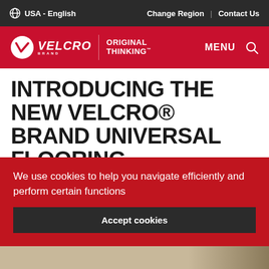USA - English | Change Region | Contact Us
[Figure (logo): VELCRO Brand Original Thinking logo with MENU and search icon on red background]
INTRODUCING THE NEW VELCRO® BRAND UNIVERSAL FLOORING
We use cookies to help you navigate efficiently and perform certain functions
Accept cookies
[Figure (photo): Partial view of flooring product image at the bottom of the page]